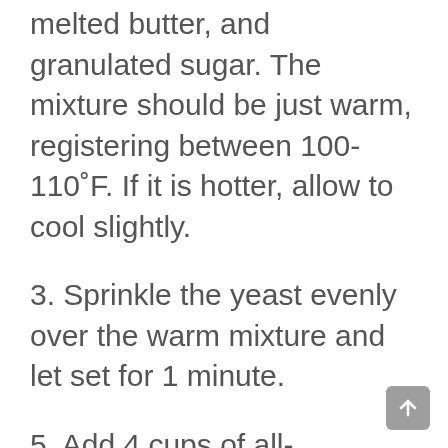melted butter, and granulated sugar. The mixture should be just warm, registering between 100-110˚F. If it is hotter, allow to cool slightly.
3. Sprinkle the yeast evenly over the warm mixture and let set for 1 minute.
5. Add 4 cups of all-